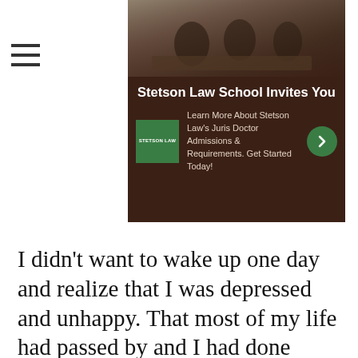[Figure (screenshot): Hamburger menu icon (three horizontal lines) in top left]
[Figure (screenshot): Stetson Law School advertisement banner with courtroom photo, green logo box, and text: 'Stetson Law School Invites You — Learn More About Stetson Law's Juris Doctor Admissions & Requirements. Get Started Today!']
I didn't want to wake up one day and realize that I was depressed and unhappy. That most of my life had passed by and I had done nothing with it. That my dream of having a career I'd enjoy was still just a dream. So I chose action.
[Figure (screenshot): Topgolf advertisement: 'Topgolf® - Family Fun' with Topgolf logo, navigation icon, play and close buttons]